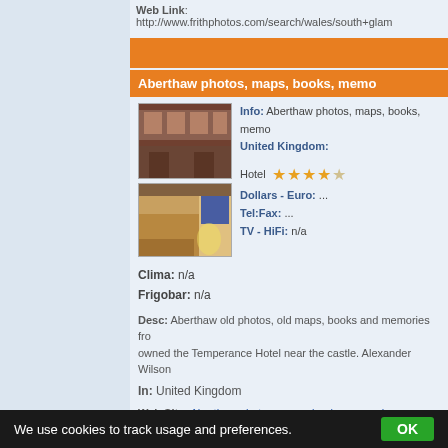Web Link: http://www.frithphotos.com/search/wales/south+glam
Aberthaw photos, maps, books, memo
[Figure (photo): Exterior photo of a red brick building / hotel]
[Figure (photo): Interior photo of a hotel room with warm lighting]
Info: Aberthaw photos, maps, books, memo United Kingdom:
Hotel ★★★★☆
Dollars - Euro: ...
Tel:Fax: ...
TV - HiFi: n/a
Clima: n/a
Frigobar: n/a
Desc: Aberthaw old photos, old maps, books and memories from owned the Temperance Hotel near the castle. Alexander Wilson
In: United Kingdom
Web Site: Aberthaw photos, maps, books, memories - Francis F
Web Link: http://www.frithphotos.com/pageloader.asp?page=/se
We use cookies to track usage and preferences. OK